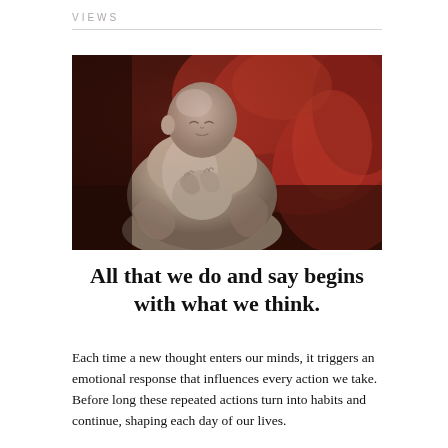VIEWS
[Figure (photo): A stone Buddha statue in a praying position with hands pressed together, set against a warm red/orange blurred background. The statue appears to be outdoors and is rendered in grayscale tones contrasting with the vibrant background.]
All that we do and say begins with what we think.
Each time a new thought enters our minds, it triggers an emotional response that influences every action we take. Before long these repeated actions turn into habits and continue, shaping each day of our lives.